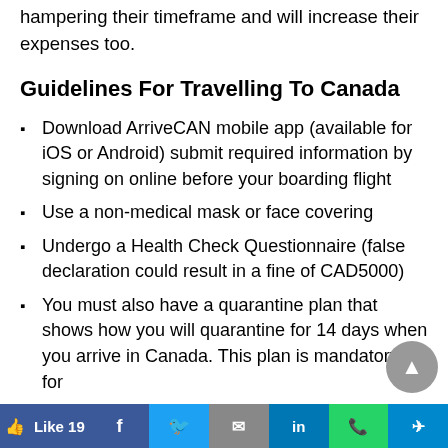hampering their timeframe and will increase their expenses too.
Guidelines For Travelling To Canada
Download ArriveCAN mobile app (available for iOS or Android) submit required information by signing on online before your boarding flight
Use a non-medical mask or face covering
Undergo a Health Check Questionnaire (false declaration could result in a fine of CAD5000)
You must also have a quarantine plan that shows how you will quarantine for 14 days when you arrive in Canada. This plan is mandatory. for